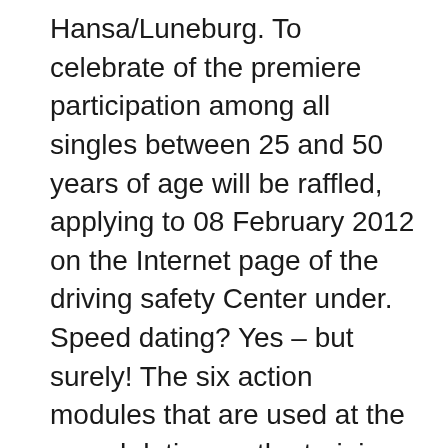Hansa/Luneburg. To celebrate of the premiere participation among all singles between 25 and 50 years of age will be raffled, applying to 08 February 2012 on the Internet page of the driving safety Center under. Speed dating? Yes – but surely! The six action modules that are used at the speed dating on the training track of the ADAC of driving safety Centre Hansa/Luneburg, cover all important elements of a car of driving safety training. The extension of the proven concept to a driver/front passenger constellation, which changes during each module is new. In this way each participant experienced the training sessions both behind the wheel and on the passenger seat", reported beer.